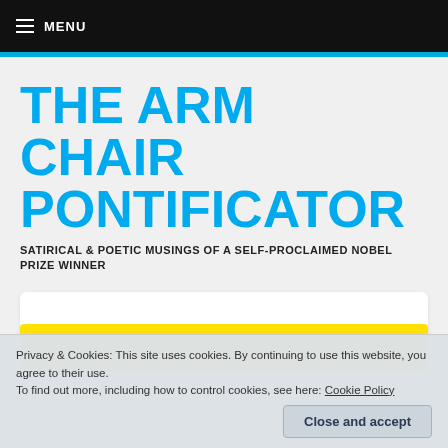≡ MENU
THE ARM CHAIR PONTIFICATOR
SATIRICAL & POETIC MUSINGS OF A SELF-PROCLAIMED NOBEL PRIZE WINNER
Privacy & Cookies: This site uses cookies. By continuing to use this website, you agree to their use.
To find out more, including how to control cookies, see here: Cookie Policy
Close and accept